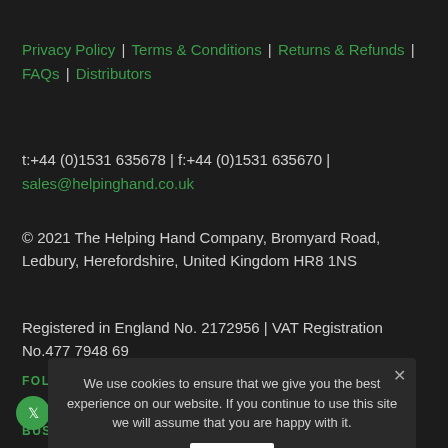Privacy Policy | Terms & Conditions | Returns & Refunds | FAQs | Distributors
t:+44 (0)1531 635678 | f:+44 (0)1531 635670 | sales@helpinghand.co.uk
© 2021 The Helping Hand Company, Bromyard Road, Ledbury, Herefordshire, United Kingdom HR8 1NS
Registered in England No. 2172956 | VAT Registration No.477 7948 69
FOLLOW US
[Figure (other): Social media icons: Twitter, Instagram, Facebook, YouTube, LinkedIn, Pinterest]
BUSINESS HOURS
We use cookies to ensure that we give you the best experience on our website. If you continue to use this site we will assume that you are happy with it.